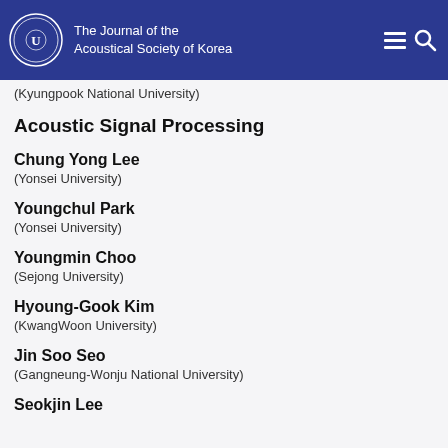The Journal of the Acoustical Society of Korea
(Kyungpook National University)
Acoustic Signal Processing
Chung Yong Lee
(Yonsei University)
Youngchul Park
(Yonsei University)
Youngmin Choo
(Sejong University)
Hyoung-Gook Kim
(KwangWoon University)
Jin Soo Seo
(Gangneung-Wonju National University)
Seokjin Lee